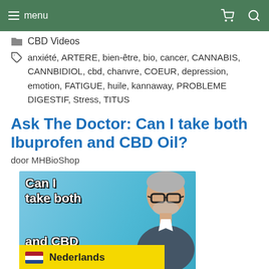menu
CBD Videos
anxiété, ARTERE, bien-être, bio, cancer, CANNABIS, CANNBIDIOL, cbd, chanvre, COEUR, depression, emotion, FATIGUE, huile, kannaway, PROBLEME DIGESTIF, Stress, TITUS
Ask The Doctor: Can I take both Ibuprofen and CBD Oil?
door MHBioShop
[Figure (screenshot): Video thumbnail showing text 'Can I take both Ibuprofen and CBD' on a cyan/blue background with a doctor image on the right. A yellow Netherlands language overlay bar with Dutch flag is shown at the bottom left.]